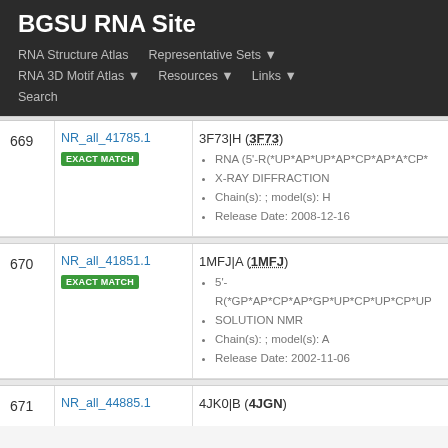BGSU RNA Site
RNA Structure Atlas | Representative Sets | RNA 3D Motif Atlas | Resources | Links | Search
| # | ID | Details |
| --- | --- | --- |
| 669 | NR_all_41785.1 EXACT MATCH | 3F73|H (3F73) • RNA (5'-R(*UP*AP*UP*AP*CP*AP*A*CP* • X-RAY DIFFRACTION • Chain(s): ; model(s): H • Release Date: 2008-12-16 |
| 670 | NR_all_41851.1 EXACT MATCH | 1MFJ|A (1MFJ) • 5'-R(*GP*AP*CP*AP*GP*UP*CP*UP*CP*UP • SOLUTION NMR • Chain(s): ; model(s): A • Release Date: 2002-11-06 |
| 671 | NR_all_44885.1 | 4JK0|B (4JGN) |